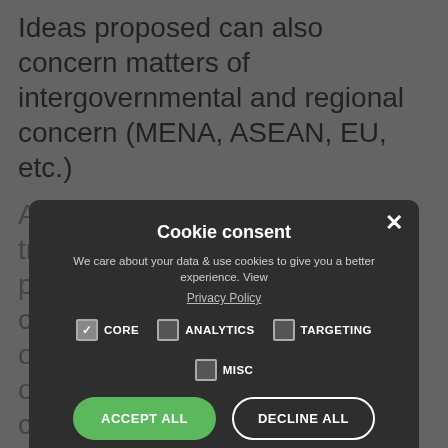Ideas proposed can also concern matters of intergovernmental and regional concern (MENA, ASEAN, EU, etc.)
A local, national and transnational institution, providing relevant solutions concerning how best to steward our commons, operating in an open-source protocol, and creative commons legal framework.
All votes, policies created, are registered on a public blockchain to catalog and analyze global library of solutions, to catalyze future solutions contributors, communities to build on top of these ideas.
Scores for each policy solution derived through citizen participation, stored in the
[Figure (screenshot): Cookie consent modal overlay with dark background. Title: 'Cookie consent'. Description: 'We care about your data & use cookies to give you a better experience. View Privacy Policy'. Checkboxes for CORE (checked), ANALYTICS, TARGETING, MISC. Buttons: ACCEPT ALL (green), DECLINE ALL (outlined). SHOW DETAILS link with gear icon. POWERED BY COOKIESCRIPT footer.]